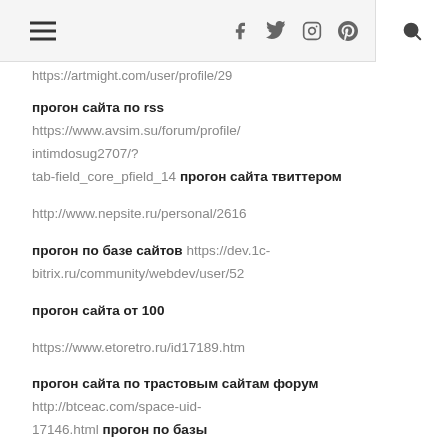[navigation bar with hamburger menu, social icons f t instagram pinterest, and search]
https://artmight.com/user/profile/29
прогон сайта по rss https://www.avsim.su/forum/profile/intimdosug2707/?tab-field_core_pfield_14 прогон сайта твиттером
http://www.nepsite.ru/personal/2616
прогон по базе сайтов https://dev.1c-bitrix.ru/community/webdev/user/52
прогон сайта от 100
https://www.etoretro.ru/id17189.htm
прогон сайта по трастовым сайтам форум http://btceac.com/space-uid-17146.html прогон по базы